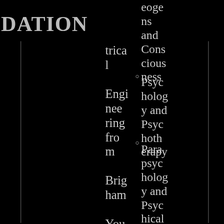DATION
Electrical Engineering from Brigham Young University
Homoegens and Consciousness Psychology and Psychotherapy
Parapsychology and Psychical Research